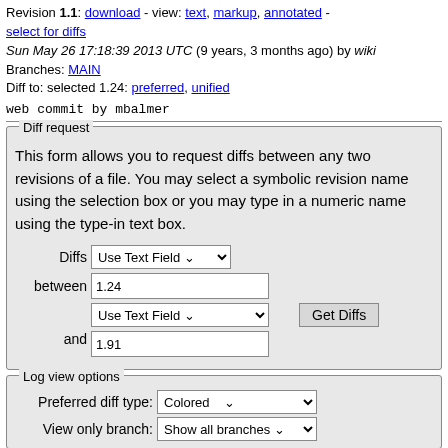Revision 1.1: download - view: text, markup, annotated - select for diffs
Sun May 26 17:18:39 2013 UTC (9 years, 3 months ago) by wiki
Branches: MAIN
Diff to: selected 1.24: preferred, unified
web commit by mbalmer
Diff request - This form allows you to request diffs between any two revisions of a file. You may select a symbolic revision name using the selection box or you may type in a numeric name using the type-in text box.
Log view options - Preferred diff type: Colored, View only branch: Show all branches